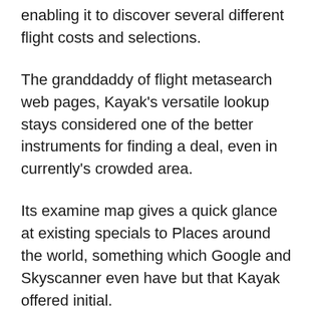enabling it to discover several different flight costs and selections.
The granddaddy of flight metasearch web pages, Kayak's versatile lookup stays considered one of the better instruments for finding a deal, even in currently's crowded area.
Its examine map gives a quick glance at existing specials to Places around the world, something which Google and Skyscanner even have but that Kayak offered initial.
Discover vacation inspiration and sensible specifics of your next journey. Learn about the most up-to-date journey developments.